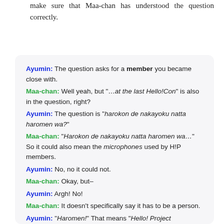make sure that Maa-chan has understood the question correctly.
Ayumin: The question asks for a member you became close with.
Maa-chan: Well yeah, but "…at the last Hello!Con" is also in the question, right?
Ayumin: The question is "harokon de nakayoku natta haromen wa?"
Maa-chan: "Harokon de nakayoku natta haromen wa…" So it could also mean the microphones used by H!P members.
Ayumin: No, no it could not.
Maa-chan: Okay, but–
Ayumin: Argh! No!
Maa-chan: It doesn't specifically say it has to be a person.
Ayumin: "Haromen!" That means "Hello! Project